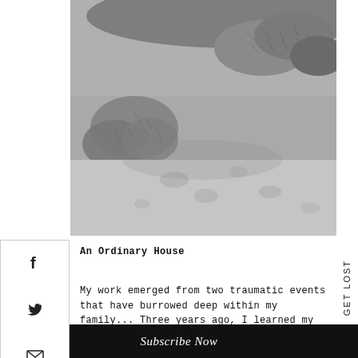[Figure (photo): Black and white close-up photograph of spiny cactus plants and footprints or impressions in sand/snow]
An Ordinary House
My work emerged from two traumatic events that have burrowed deep within my family... Three years ago, I learned my mother was drugged and
Subscribe Now